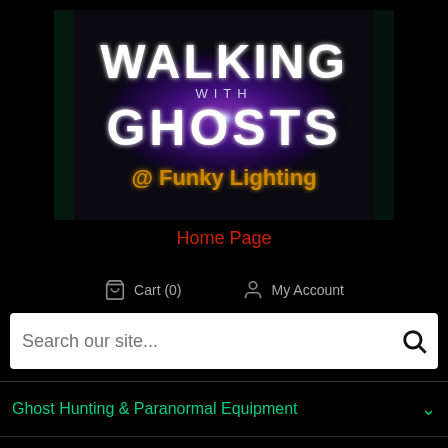[Figure (logo): Walking with Ghosts @ Funky Lighting logo — dark background with purple/blue glowing orb, white stylized text 'WALKING with GHOSTS' and golden text '@ Funky Lighting']
Home Page
Cart (0)
My Account
Search our site...
Ghost Hunting & Paranormal Equipment
Haunted Dolls & Trigger Objects